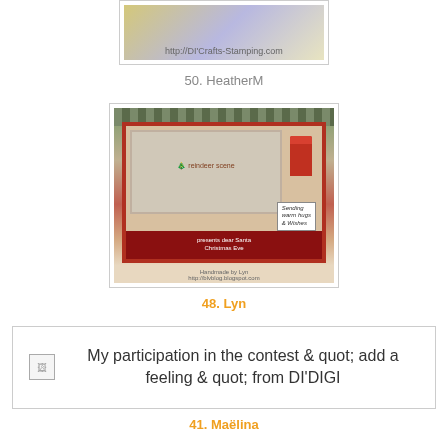[Figure (photo): Craft card thumbnail partially visible at top of page, labeled entry 50 HeatherM]
50. HeatherM
[Figure (photo): Christmas-themed handmade card featuring reindeer and a red mailbox with text 'presents dear Santa Christmas Eve' and 'Sending warm hugs & Wishes'. Handmade by Lyn.]
48. Lyn
[Figure (photo): Broken/missing image placeholder for contest entry from DI'DIGI]
My participation in the contest & quot; add a feeling & quot; from DI'DIGI
41. Maëlina
Congrats ladies please grab my top 3 banner!